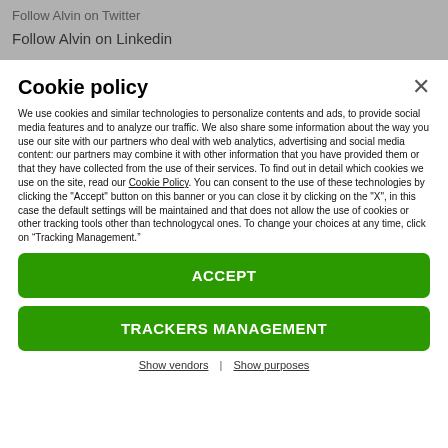Follow Alvin on Twitter
Follow Alvin on Linkedin
Cookie policy
We use cookies and similar technologies to personalize contents and ads, to provide social media features and to analyze our traffic. We also share some information about the way you use our site with our partners who deal with web analytics, advertising and social media content: our partners may combine it with other information that you have provided them or that they have collected from the use of their services. To find out in detail which cookies we use on the site, read our Cookie Policy. You can consent to the use of these technologies by clicking the "Accept" button on this banner or you can close it by clicking on the "X", in this case the default settings will be maintained and that does not allow the use of cookies or other tracking tools other than technologycal ones. To change your choices at any time, click on “Tracking Management.”
ACCEPT
TRACKERS MANAGEMENT
Show vendors | Show purposes